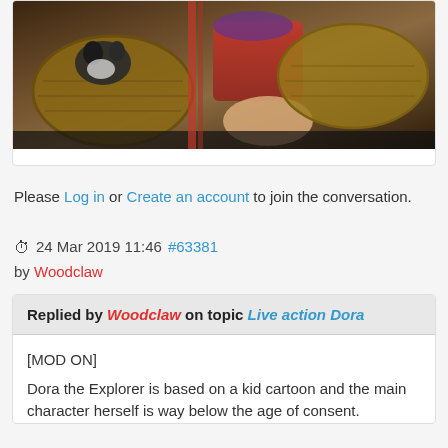[Figure (photo): A partial photo showing a person in red clothing with woven baskets, cropped at the top of the page]
Please Log in or Create an account to join the conversation.
24 Mar 2019 11:46 #63381 by Woodclaw
Replied by Woodclaw on topic Live action Dora
[MOD ON]
Dora the Explorer is based on a kid cartoon and the main character herself is way below the age of consent.